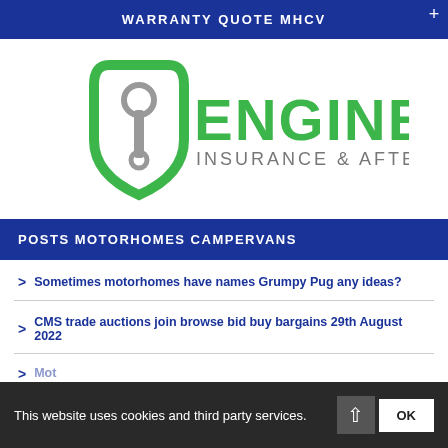WARRANTY QUOTE MHCV
[Figure (logo): Engineer Insurance & Aftercare logo with green shield icon containing a wrench, and green text reading ENGINEER INSURANCE & AFTERCARE]
POSTS MOTORHOMES CAMPERVANS
Sometimes motorhomes have names Grumpy Pug any ideas?
CMS trade auctions join browse bid buy bargains 29th August 2022
This website uses cookies and third party services.